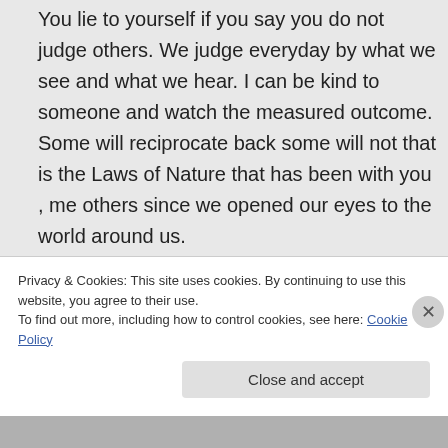You lie to yourself if you say you do not judge others. We judge everyday by what we see and what we hear. I can be kind to someone and watch the measured outcome. Some will reciprocate back some will not that is the Laws of Nature that has been with you , me others since we opened our eyes to the world around us.
You every look at a snowflake,
Privacy & Cookies: This site uses cookies. By continuing to use this website, you agree to their use.
To find out more, including how to control cookies, see here: Cookie Policy